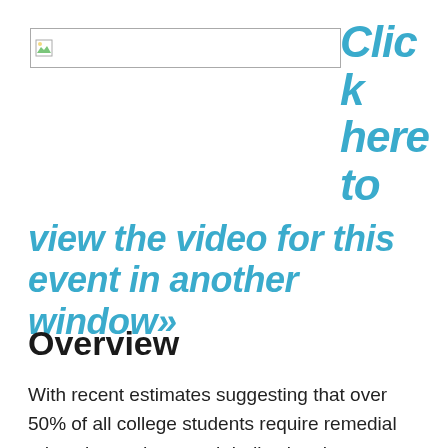[Figure (screenshot): Broken image placeholder — a small image icon with a white rectangle and border, representing a video thumbnail link]
Click here to view the video for this event in another window»
Overview
With recent estimates suggesting that over 50% of all college students require remedial education and research indicating that remedial education students have...